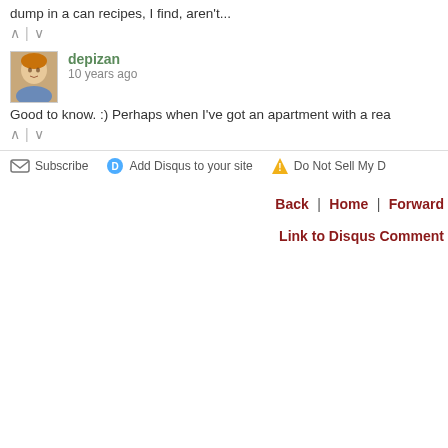dump in a can recipes, I find, aren't...
^ | v
depizan
10 years ago
Good to know. :) Perhaps when I've got an apartment with a rea
^ | v
Subscribe | Add Disqus to your site | Do Not Sell My D
Back | Home | Forward
Link to Disqus Comment